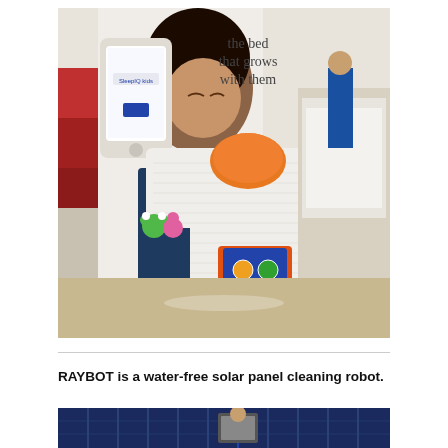[Figure (photo): Trade show display of a children's bed/mattress (SleepIQ Kids) with an orange pillow, a tablet device in an orange stand on the mattress, colorful stuffed toys, and a large banner backdrop showing a sleeping child with text 'the bed that grows with them'.]
RAYBOT is a water-free solar panel cleaning robot.
[Figure (photo): Close-up of solar panels being cleaned, showing blue photovoltaic panels with a robotic cleaning device visible.]